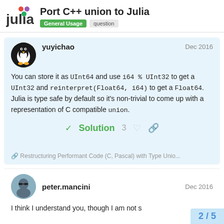Port C++ union to Julia
General Usage  question
yuyichao  Dec 2016
You can store it as UInt64 and use i64 % UInt32 to get a UInt32 and reinterpret(Float64, i64) to get a Float64. Julia is type safe by default so it's non-trivial to come up with a representation of C compatible union.
✓ Solution  3
🔗 Restructuring Performant Code (C, Pascal) with Type Unio...
peter.mancini  Dec 2016
I think I understand you, though I am not s
2 / 5